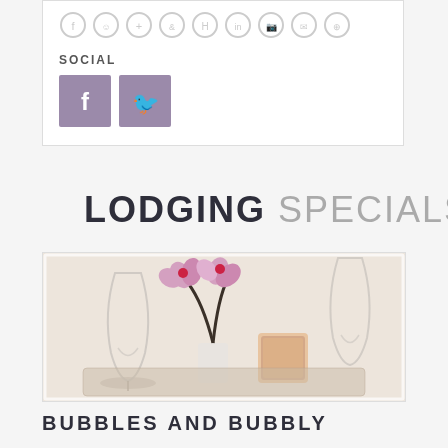[Figure (other): Row of circular social/amenity icons in gray outline style]
SOCIAL
[Figure (other): Facebook and Twitter social media buttons in mauve/purple square buttons]
LODGING SPECIALS
[Figure (photo): Spa tray with wine glasses, pink orchid flowers, and a pink Himalayan salt candle holder on a wooden tray]
BUBBLES AND BUBBLY